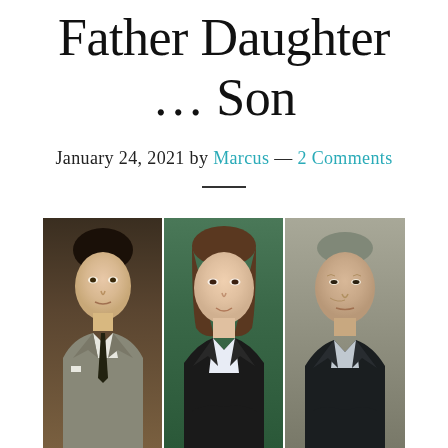Father Daughter … Son
January 24, 2021 by Marcus — 2 Comments
[Figure (photo): Three portrait photos side by side: a young man in a suit with a dark tie on the left, a woman in a black blazer with a white shirt in the center, and an older man in a dark jacket on the right.]